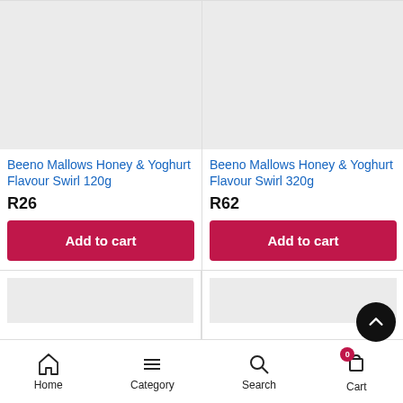[Figure (photo): Product image placeholder (gray rectangle) for Beeno Mallows Honey & Yoghurt Flavour Swirl 120g]
Beeno Mallows Honey & Yoghurt Flavour Swirl 120g
R26
Add to cart
[Figure (photo): Product image placeholder (gray rectangle) for Beeno Mallows Honey & Yoghurt Flavour Swirl 320g]
Beeno Mallows Honey & Yoghurt Flavour Swirl 320g
R62
Add to cart
Home  Category  Search  Cart